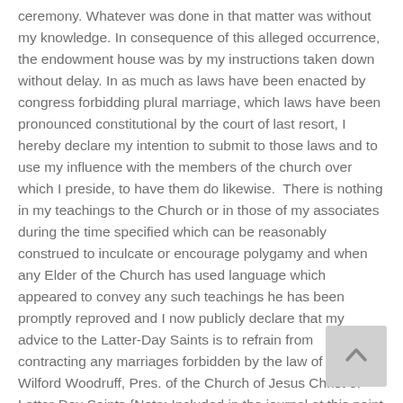ceremony. Whatever was done in that matter was without my knowledge. In consequence of this alleged occurrence, the endowment house was by my instructions taken down without delay. In as much as laws have been enacted by congress forbidding plural marriage, which laws have been pronounced constitutional by the court of last resort, I hereby declare my intention to submit to those laws and to use my influence with the members of the church over which I preside, to have them do likewise.  There is nothing in my teachings to the Church or in those of my associates during the time specified which can be reasonably construed to inculcate or encourage polygamy and when any Elder of the Church has used language which appeared to convey any such teachings he has been promptly reproved and I now publicly declare that my advice to the Latter-Day Saints is to refrain from contracting any marriages forbidden by the law of the land.  Wilford Woodruff, Pres. of the Church of Jesus Christ of Latter-Day Saints {Note: Included in the journal at this point is a newspaper clipping of the above manifesto with a resolution by Apostle Lyman to accept the above on behalf of the church.}
Because of the above, many fell away and renounced their religion.